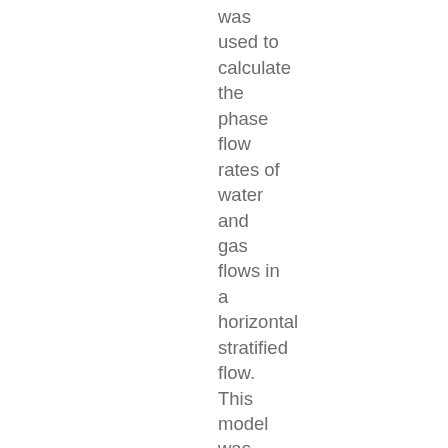was used to calculate the phase flow rates of water and gas flows in a horizontal stratified flow. This model was also modified to be